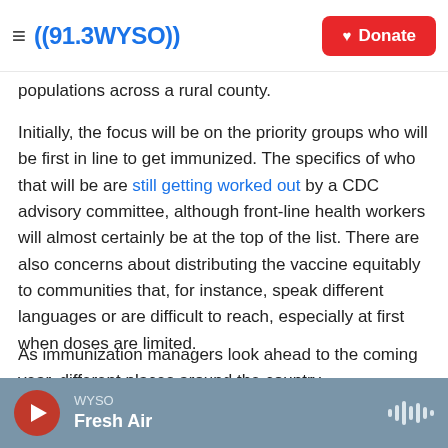((91.3 WYSO)) | Donate
populations across a rural county.
Initially, the focus will be on the priority groups who will be first in line to get immunized. The specifics of who that will be are still getting worked out by a CDC advisory committee, although front-line health workers will almost certainly be at the top of the list. There are also concerns about distributing the vaccine equitably to communities that, for instance, speak different languages or are difficult to reach, especially at first when doses are limited.
As immunization managers look ahead to the coming year, different places around the country
WYSO | Fresh Air